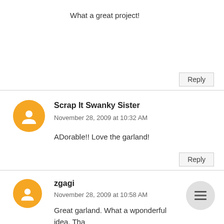What a great project!
Reply
Scrap It Swanky Sister
November 28, 2009 at 10:32 AM
ADorable!! Love the garland!
Reply
zgagi
November 28, 2009 at 10:58 AM
Great garland. What a wponderful idea. Tha the tutorial.